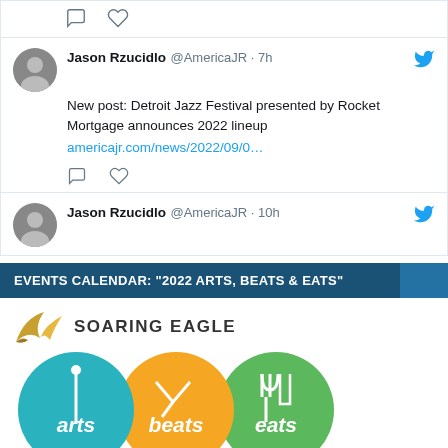[Figure (screenshot): Top portion of a tweet card showing comment and like action icons (partial view)]
[Figure (screenshot): Tweet by Jason Rzucidlo @AmericaJR 7h: New post: Detroit Jazz Festival presented by Rocket Mortgage announces 2022 lineup americajr.com/news/2022/09/0... with comment and like icons and Twitter bird logo]
[Figure (screenshot): Partial tweet by Jason Rzucidlo @AmericaJR 10h with Twitter bird logo, cut off]
EVENTS CALENDAR: “2022 ARTS, BEATS & EATS”
[Figure (logo): Soaring Eagle logo with feather icon and text SOARING EAGLE, followed by Arts Beats Eats circular overlapping logos in teal, orange, and green, presented by Flagstar]